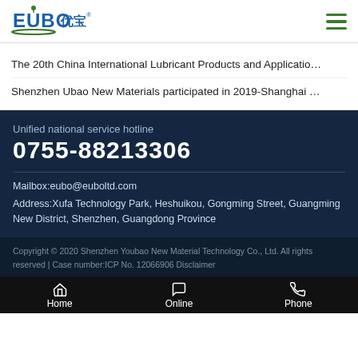[Figure (logo): EUBO (优宝) company logo with green leaf accent]
The 20th China International Lubricant Products and Applicatio…
Shenzhen Ubao New Materials participated in 2019-Shanghai …
Unified national service hotline
0755-88213306
Mailbox:eubo@euboltd.com
Address:Xufa Technology Park, Heshuikou, Gongming Street, Guangming New District, Shenzhen, Guangdong Province
Copyright © 2020 Shenzhen Youbao New Material Technology Co., Ltd. All rights reserved | Case number:ICP No. 12066906 Disclaimer
Home | Online | Phone